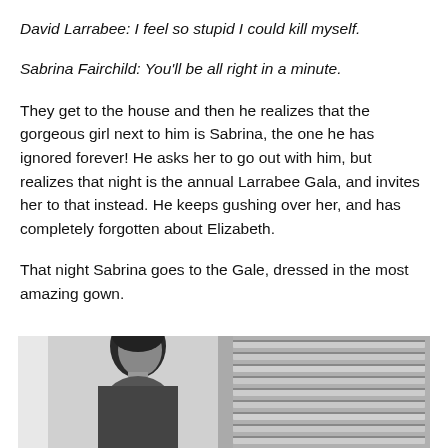David Larrabee: I feel so stupid I could kill myself.
Sabrina Fairchild: You'll be all right in a minute.
They get to the house and then he realizes that the gorgeous girl next to him is Sabrina, the one he has ignored forever! He asks her to go out with him, but realizes that night is the annual Larrabee Gala, and invites her to that instead. He keeps gushing over her, and has completely forgotten about Elizabeth.
That night Sabrina goes to the Gale, dressed in the most amazing gown.
[Figure (photo): Black and white photograph showing a woman (resembling Audrey Hepburn) with short dark hair in the foreground, with louvered blinds or shutters visible in the background to the right.]